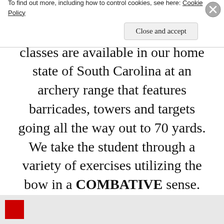also provide the HIGHEST quality training as well! These classes are available in our home state of South Carolina at an archery range that features barricades, towers and targets going all the way out to 70 yards. We take the student through a variety of exercises utilizing the bow in a COMBATIVE sense. Our goal is to bring the bow back into it's rightful place as a weapon of combat rather than simple target
Privacy & Cookies: This site uses cookies. By continuing to use this website, you agree to their use. To find out more, including how to control cookies, see here: Cookie Policy
Close and accept